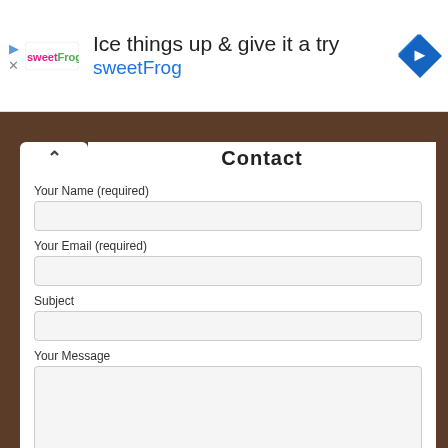[Figure (screenshot): Advertisement banner for sweetFrog with text 'Ice things up & give it a try' and sweetFrog brand name with logo and blue diamond arrow icon]
Contact
Your Name (required)
Your Email (required)
Subject
Your Message